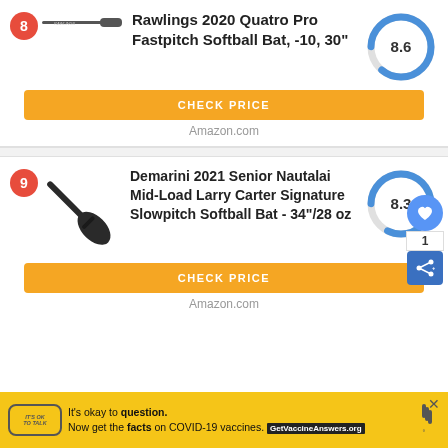[Figure (infographic): Product listing card #8: Rawlings 2020 Quatro Pro Fastpitch Softball Bat, -10, 30 inch with score 8.6 donut chart and CHECK PRICE button]
[Figure (infographic): Product listing card #9: Demarini 2021 Senior Nautalai Mid-Load Larry Carter Signature Slowpitch Softball Bat - 34/28 oz with score 8.3 donut chart and CHECK PRICE button]
[Figure (infographic): Ad banner: It's okay to question. Now get the facts on COVID-19 vaccines. GetVaccineAnswers.org]